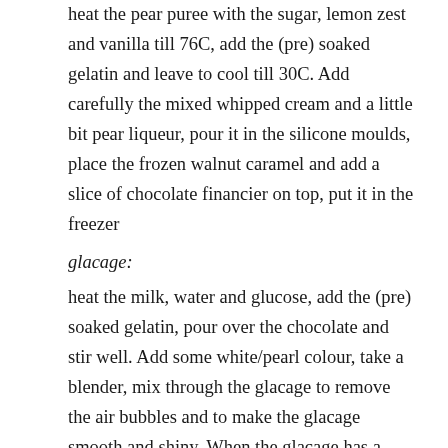heat the pear puree with the sugar, lemon zest and vanilla till 76C, add the (pre) soaked gelatin and leave to cool till 30C. Add carefully the mixed whipped cream and a little bit pear liqueur, pour it in the silicone moulds, place the frozen walnut caramel and add a slice of chocolate financier on top, put it in the freezer
glacage:
heat the milk, water and glucose, add the (pre) soaked gelatin, pour over the chocolate and stir well. Add some white/pearl colour, take a blender, mix through the glacage to remove the air bubbles and to make the glacage smooth and shiny. When the glacage has a temp. of around 34C, pour it over the frozen pastry and divide it over the breton sable